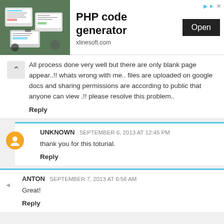[Figure (screenshot): Advertisement banner for PHP code generator on xlinesoft.com with an Open button]
All process done very well but there are only blank page appear..!! whats wrong with me.. files are uploaded on google docs and sharing permissions are according to public that anyone can view .!! please resolve this problem..
Reply
UNKNOWN  SEPTEMBER 6, 2013 AT 12:45 PM
thank you for this toturial.
Reply
ANTON  SEPTEMBER 7, 2013 AT 6:56 AM
Great!
Reply